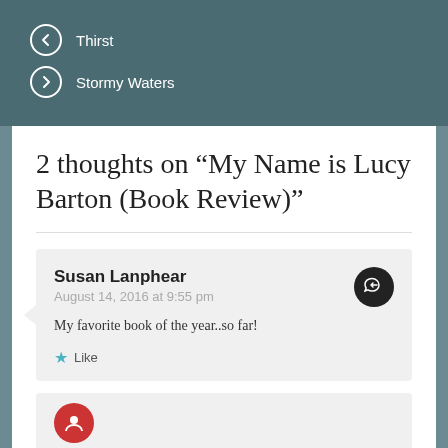← Thirst
→ Stormy Waters
2 thoughts on “My Name is Lucy Barton (Book Review)”
Susan Lanphear
August 14, 2016 at 9:55 pm

My favorite book of the year..so far!

★ Like